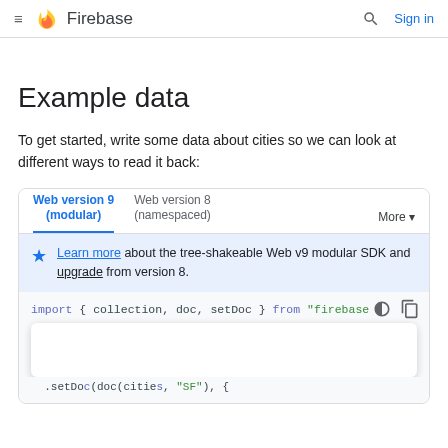≡ Firebase  🔍 Sign in
Example data
To get started, write some data about cities so we can look at different ways to read it back:
Web version 9 (modular) | Web version 8 (namespaced) | More
Learn more about the tree-shakeable Web v9 modular SDK and upgrade from version 8.
import { collection, doc, setDoc } from "firebase